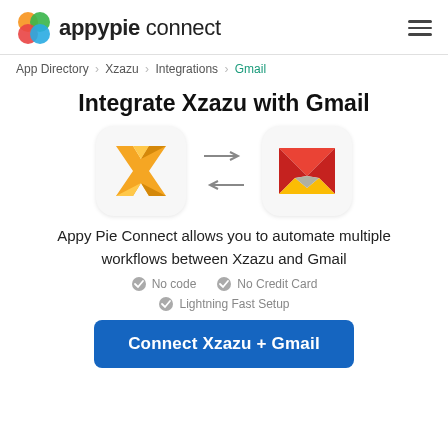appypie connect
App Directory > Xzazu > Integrations > Gmail
Integrate Xzazu with Gmail
[Figure (logo): Xzazu app icon (gold X logo) and Gmail app icon (red M envelope logo) with bidirectional arrows between them]
Appy Pie Connect allows you to automate multiple workflows between Xzazu and Gmail
No code
No Credit Card
Lightning Fast Setup
Connect Xzazu + Gmail